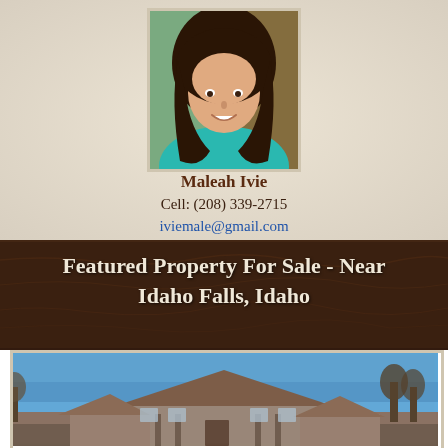[Figure (photo): Headshot photo of Maleah Ivie, a woman with brown hair wearing a teal/turquoise top, smiling, with plants in the background]
Maleah Ivie
Cell: (208) 339-2715
iviemale@gmail.com
Featured Property For Sale - Near Idaho Falls, Idaho
[Figure (photo): Exterior photo of a large residential property/home near Idaho Falls, Idaho, showing a house with a prominent roof against a clear blue sky, with trees in the background]